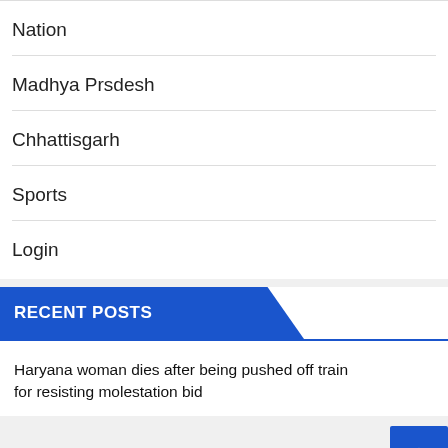Nation
Madhya Prsdesh
Chhattisgarh
Sports
Login
RECENT POSTS
Haryana woman dies after being pushed off train for resisting molestation bid